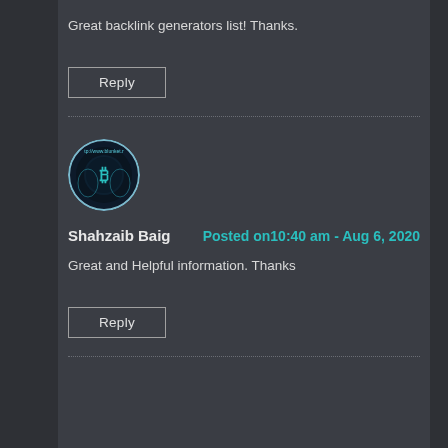Great backlink generators list! Thanks.
Reply
Shahzaib Baig
Posted on10:40 am - Aug 6, 2020
Great and Helpful information. Thanks
Reply